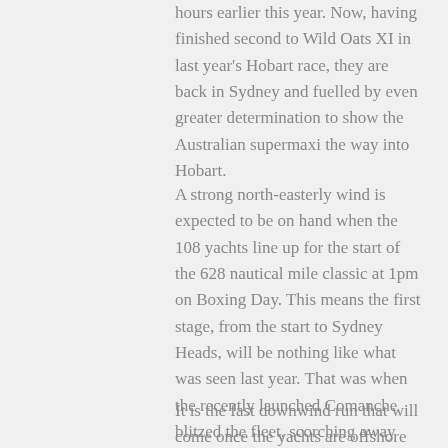hours earlier this year. Now, having finished second to Wild Oats XI in last year's Hobart race, they are back in Sydney and fuelled by even greater determination to show the Australian supermaxi the way into Hobart.
A strong north-easterly wind is expected to be on hand when the 108 yachts line up for the start of the 628 nautical mile classic at 1pm on Boxing Day. This means the first stage, from the start to Sydney Heads, will be nothing like what was seen last year. That was when the recently launched Comanche blitzed the fleet, scorching away from Wild Oats XI and leading all yachts out of the harbour. Instead, this year the fleet will have to contend with headwinds and beat upwind to the harbour entrance before turning south.
It is the fast downwind run that will come once the yachts are offshore that could indicate how the race for being first to finish will develop. The Oatleys and